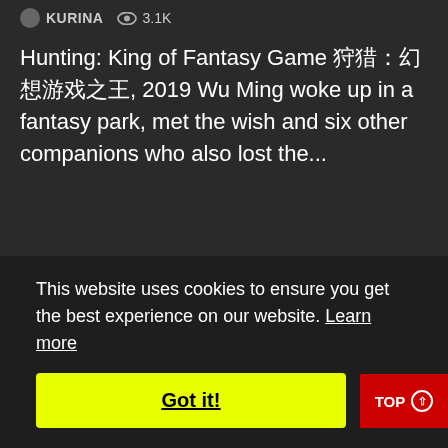KURINA  3.1K
Hunting: King of Fantasy Game 狩猎：幻想游戏之王, 2019 Wu Ming woke up in a fantasy park, met the wish and six other companions who also lost the...
This website uses cookies to ensure you get the best experience on our website. Learn more
Got it!
TOP ↑